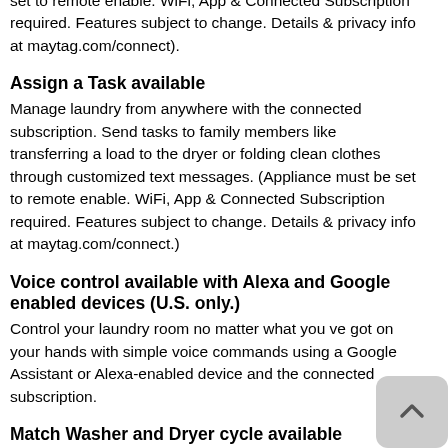set to remote enable. WiFi, App & Connected Subscription required. Features subject to change. Details & privacy info at maytag.com/connect).
Assign a Task available
Manage laundry from anywhere with the connected subscription. Send tasks to family members like transferring a load to the dryer or folding clean clothes through customized text messages. (Appliance must be set to remote enable. WiFi, App & Connected Subscription required. Features subject to change. Details & privacy info at maytag.com/connect.)
Voice control available with Alexa and Google enabled devices (U.S. only.)
Control your laundry room no matter what you ve got on your hands with simple voice commands using a Google Assistant or Alexa-enabled device and the connected subscription.
Match Washer and Dryer cycle available
Get the best dry for your clothes without the guesswork. With the connected subscription, receive a recommended dry cycle that matches your last wash cycle, then send